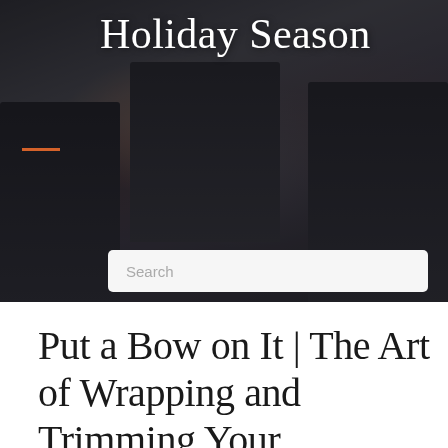[Figure (photo): Hero banner photo showing people working at computers in a dark office setting, with a large text overlay 'Holiday Season' and a search bar]
Holiday Season
Put a Bow on It | The Art of Wrapping and Trimming Your